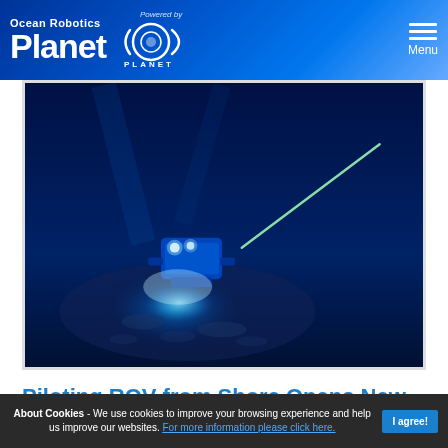Ocean Robotics Planet — Powered by ROV Planet — Menu
[Figure (photo): Underwater photograph of a blue ROV (remotely operated vehicle) on the seabed, illuminated by bright lights, with a tether cable extending to the upper right, surrounded by dark blue deep-sea water and sandy bottom.]
Piloting ROV from Shore Opens New
About Cookies - We use cookies to improve your browsing experience and help us improve our websites. For more information please click here.